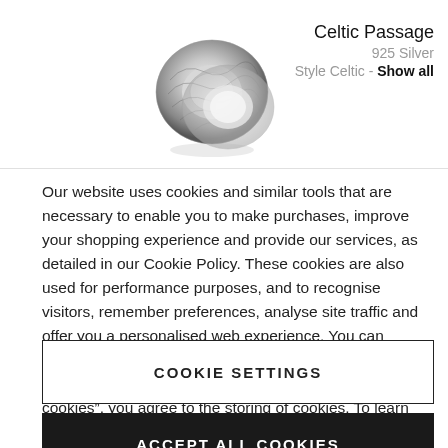[Figure (photo): Silver Celtic ring product photo]
Celtic Passage
925 Silver
Style Celtic - Show all
Our website uses cookies and similar tools that are necessary to enable you to make purchases, improve your shopping experience and provide our services, as detailed in our Cookie Policy. These cookies are also used for performance purposes, and to recognise visitors, remember preferences, analyse site traffic and offer you a personalised web experience. You can always change these settings and withdraw your consent by visiting our “Cookie Policy”. By clicking on “Accept all cookies”, you agree to the storing of cookies. To learn more about how we process your data, please consult our Privacy Policy.
COOKIE SETTINGS
ACCEPT ALL COOKIES